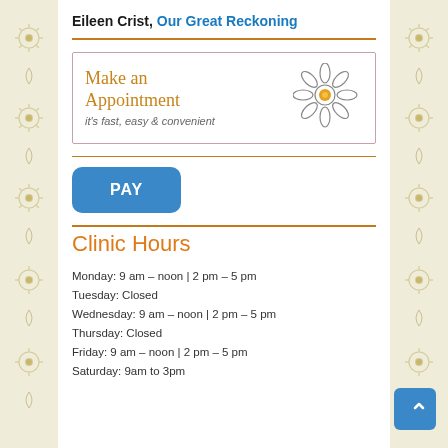Eileen Crist, Our Great Reckoning
[Figure (illustration): Make an Appointment box with sun/flower icon and text 'it's fast, easy & convenient']
[Figure (other): PAY button in blue rounded rectangle]
Clinic Hours
Monday: 9 am – noon | 2 pm – 5 pm
Tuesday: Closed
Wednesday: 9 am – noon | 2 pm – 5 pm
Thursday: Closed
Friday: 9 am – noon | 2 pm – 5 pm
Saturday: 9am to 3pm